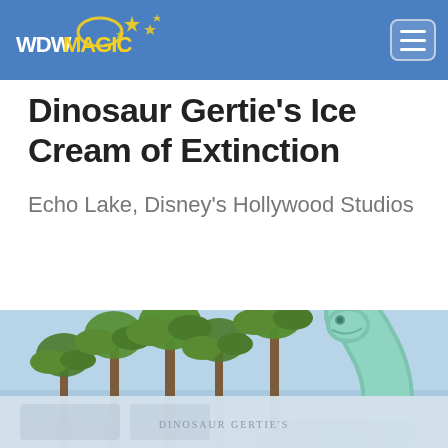WDWMagic.com
Dinosaur Gertie's Ice Cream of Extinction
Echo Lake, Disney's Hollywood Studios
Overview | Menus | News | Photos | Videos | Refu...
[Figure (photo): Photo of Dinosaur Gertie's Ice Cream of Extinction showing palm trees against a blue sky with the green brontosaurus neck sculpture visible on the right side, and a second partially visible photo strip at the bottom showing the Dinosaur Gertie's sign.]